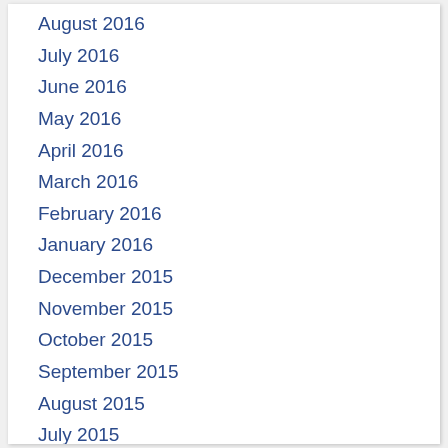August 2016
July 2016
June 2016
May 2016
April 2016
March 2016
February 2016
January 2016
December 2015
November 2015
October 2015
September 2015
August 2015
July 2015
June 2015
May 2015
April 2015
March 2015
February 2015